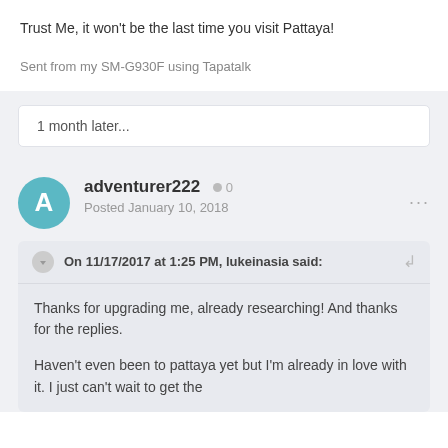Trust Me, it won't be the last time you visit Pattaya!
Sent from my SM-G930F using Tapatalk
1 month later...
adventurer222  0
Posted January 10, 2018
On 11/17/2017 at 1:25 PM, lukeinasia said:
Thanks for upgrading me, already researching! And thanks for the replies.

Haven't even been to pattaya yet but I'm already in love with it. I just can't wait to get the